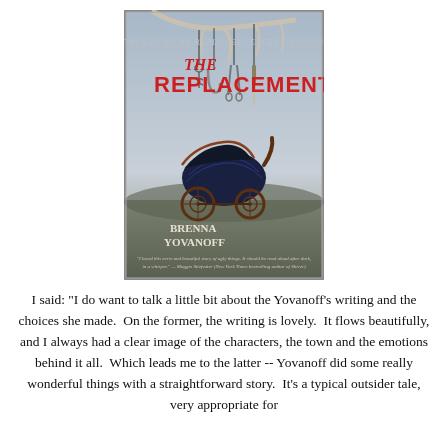[Figure (illustration): Book cover of 'The Replacement' by Brenna Yovanoff. Shows a dark vintage baby carriage/pram in a misty landscape, with tools (scissors, knife, hook) hanging from a bare tree branch above. Title in red text, tagline 'Everything can be replaced. Except human love.' at top. Author name at bottom. Quote from Maggie Stiefvater at bottom.]
I said: "I do want to talk a little bit about the Yovanoff's writing and the choices she made.  On the former, the writing is lovely.  It flows beautifully, and I always had a clear image of the characters, the town and the emotions behind it all.  Which leads me to the latter -- Yovanoff did some really wonderful things with a straightforward story.  It's a typical outsider tale, very appropriate for